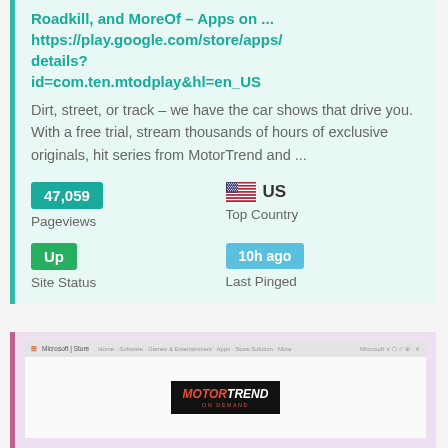Roadkill, and MoreOf - Apps on ... https://play.google.com/store/apps/details?id=com.ten.mtodplay&hl=en_US
Dirt, street, or track – we have the car shows that drive you. With a free trial, stream thousands of hours of exclusive originals, hit series from MotorTrend and ...
47,059 Pageviews
US Top Country
Up Site Status
10h ago Last Pinged
[Figure (screenshot): Screenshot of Microsoft Store page showing MotorTrend app listing]